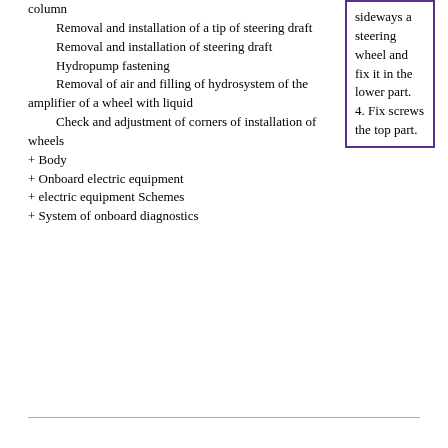column
Removal and installation of a tip of steering draft
Removal and installation of steering draft
Hydropump fastening
Removal of air and filling of hydrosystem of the amplifier of a wheel with liquid
Check and adjustment of corners of installation of wheels
+ Body
+ Onboard electric equipment
+ electric equipment Schemes
+ System of onboard diagnostics
sideways a steering wheel and fix it in the lower part.
4. Fix screws the top part.